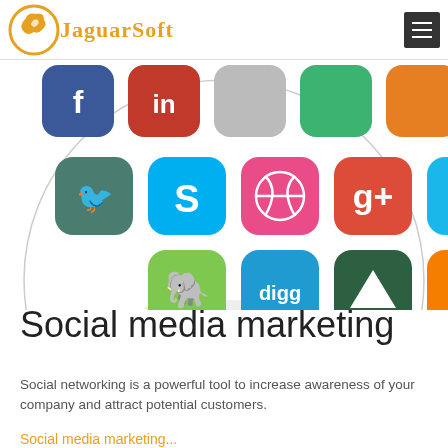JaguarSoft
[Figure (illustration): A circular arrangement of social media app icons including Skype, Google+, Vimeo, StumbleUpon, Dribbble, Evernote, Digg, Blogger, and others on a white background]
Social media marketing
Social networking is a powerful tool to increase awareness of your company and attract potential customers.
Social media marketing...